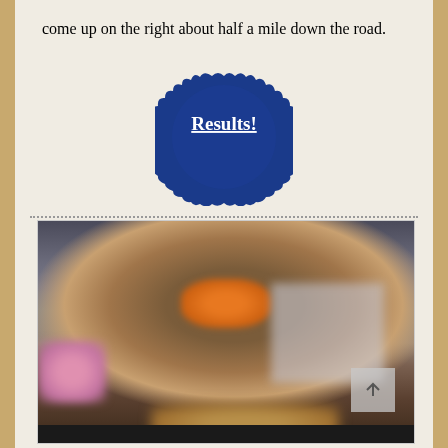come up on the right about half a mile down the road.
[Figure (illustration): Blue scalloped badge/seal graphic with bold white underlined text reading 'Results!']
[Figure (photo): Blurred photo of a person wearing an orange vest riding a brown horse in what appears to be an indoor arena. Pink element visible on the left side. Building structure visible in background on the right. An up-arrow navigation button appears in the lower-right corner of the image.]